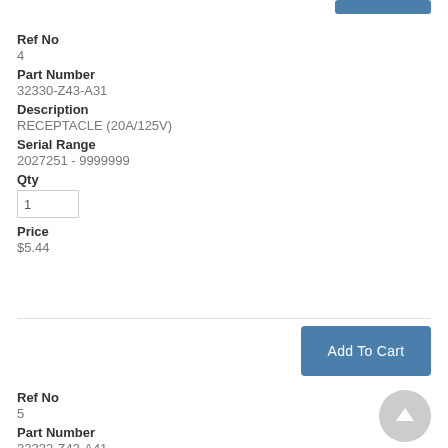Ref No
4
Part Number
32330-Z43-A31
Description
RECEPTACLE (20A/125V)
Serial Range
2027251 - 9999999
Qty
1
Price
$5.44
Add To Cart
Ref No
5
Part Number
32332-Z43-A41
Description